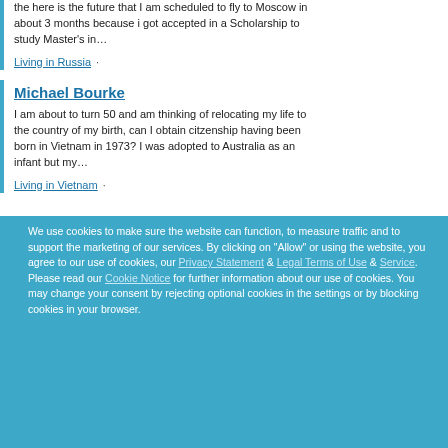the here is the future that I am scheduled to fly to Moscow in about 3 months because i got accepted in a Scholarship to study Master's in…
Living in Russia ·
Michael Bourke
I am about to turn 50 and am thinking of relocating my life to the country of my birth, can I obtain citzenship having been born in Vietnam in 1973? I was adopted to Australia as an infant but my…
Living in Vietnam ·
We use cookies to make sure the website can function, to measure traffic and to support the marketing of our services. By clicking on "Allow" or using the website, you agree to our use of cookies, our Privacy Statement & Legal Terms of Use & Service. Please read our Cookie Notice for further information about our use of cookies. You may change your consent by rejecting optional cookies in the settings or by blocking cookies in your browser.
Allow cookies
Decline